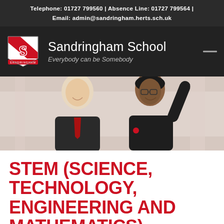Telephone: 01727 799560 | Absence Line: 01727 799564 | Email: admin@sandringham.herts.sch.uk
[Figure (logo): Sandringham School logo with crest and text: Sandringham School, Everybody can be Somebody]
[Figure (photo): Two smiling students in school uniform (black blazer with red tie), one raising their hand]
STEM (SCIENCE, TECHNOLOGY, ENGINEERING AND MATHEMATICS)